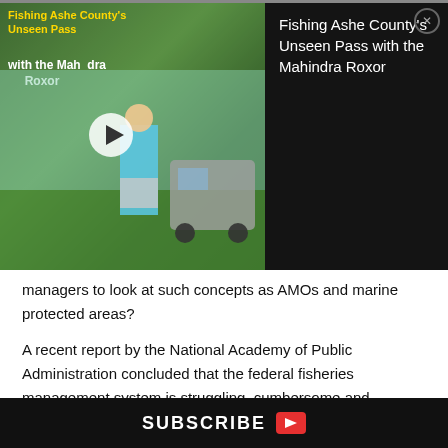[Figure (screenshot): Video thumbnail showing a person holding a fish next to a Mahindra Roxor vehicle on green grass background, with overlaid text 'Fishing Ashe County's Unseen Pass with the Mahindra Roxor' and a play button]
Fishing Ashe County's Unseen Pass with the Mahindra Roxor
managers to look at such concepts as AMOs and marine protected areas?
A recent report by the National Academy of Public Administration concluded that the federal fisheries management system is struggling, cumbersome and inflexible. Some scientists feel that continuing to use only existing management measures such as size limits, bag limits and seasons is doomed to failure because they cannot address pressures related to growth in numbers or fishing efficiency in recreational/charter fisheries, nor
SUBSCRIBE